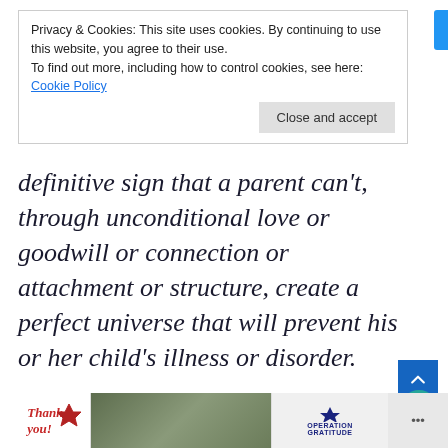Privacy & Cookies: This site uses cookies. By continuing to use this website, you agree to their use. To find out more, including how to control cookies, see here: Cookie Policy
Close and accept
definitive sign that a parent can't, through unconditional love or goodwill or connection or attachment or structure, create a perfect universe that will prevent his or her child's illness or disorder.
Quite frankly, while I am glad that Warner wrote the book that she ultimately did, I had a difficult, demoralizing time reading about her initial premise. Here was an author that was a well-educated, hum…
[Figure (other): Advertisement banner with 'Thank you!' text and Operation Gratitude military imagery]